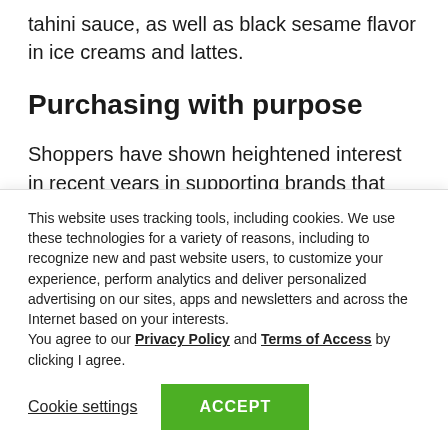tahini sauce, as well as black sesame flavor in ice creams and lattes.
Purchasing with purpose
Shoppers have shown heightened interest in recent years in supporting brands that align with their values. The events of the past year have amplified the
This website uses tracking tools, including cookies. We use these technologies for a variety of reasons, including to recognize new and past website users, to customize your experience, perform analytics and deliver personalized advertising on our sites, apps and newsletters and across the Internet based on your interests.
You agree to our Privacy Policy and Terms of Access by clicking I agree.
Cookie settings
ACCEPT